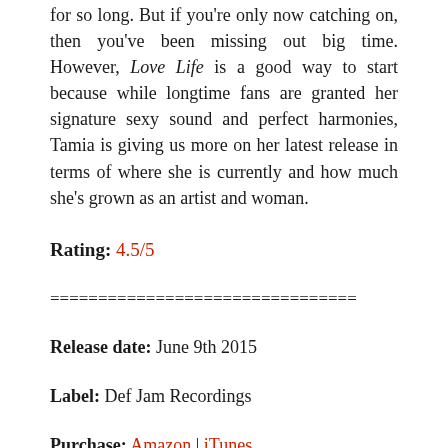for so long. But if you're only now catching on, then you've been missing out big time. However, Love Life is a good way to start because while longtime fans are granted her signature sexy sound and perfect harmonies, Tamia is giving us more on her latest release in terms of where she is currently and how much she's grown as an artist and woman.
Rating: 4.5/5
================================
Release date: June 9th 2015
Label: Def Jam Recordings
Purchase: Amazon | iTunes